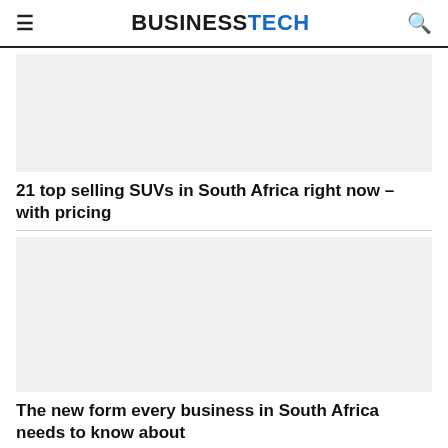BUSINESSTECH
[Figure (photo): Article thumbnail image placeholder for SUV article (grey background)]
21 top selling SUVs in South Africa right now – with pricing
[Figure (photo): Article thumbnail image placeholder for business form article (grey background)]
The new form every business in South Africa needs to know about